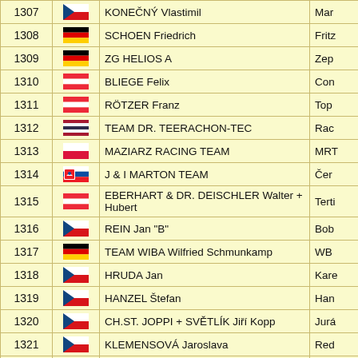| # | Flag | Name | Short |
| --- | --- | --- | --- |
| 1307 | CZE | KONEČNÝ Vlastimil | Mar |
| 1308 | GER | SCHOEN Friedrich | Fritz |
| 1309 | GER | ZG HELIOS A | Zep |
| 1310 | AUT | BLIEGE Felix | Con |
| 1311 | AUT | RÖTZER Franz | Top |
| 1312 | THA | TEAM DR. TEERACHON-TEC | Rac |
| 1313 | POL | MAZIARZ RACING TEAM | MRT |
| 1314 | SVK | J & I MARTON TEAM | Čer |
| 1315 | AUT | EBERHART & DR. DEISCHLER Walter + Hubert | Terti |
| 1316 | CZE | REIN Jan "B" | Bob |
| 1317 | GER | TEAM WIBA Wilfried Schmunkamp | WB |
| 1318 | CZE | HRUDA Jan | Kare |
| 1319 | CZE | HANZEL Štefan | Han |
| 1320 | CZE | CH.ST. JOPPI + SVĚTLÍK Jiří Kopp | Jurá |
| 1321 | CZE | KLEMENSOVÁ Jaroslava | Red |
| 1322 | AUT | GRATZER Marco "A" | Gas |
| 1323 | CZE | GRUBER Simon | Hard |
| 1324 | CZE | ŽLIČAŘ Roman | Qua |
| 1325 | SUI | SCHNEEBERGER Roman | Sno |